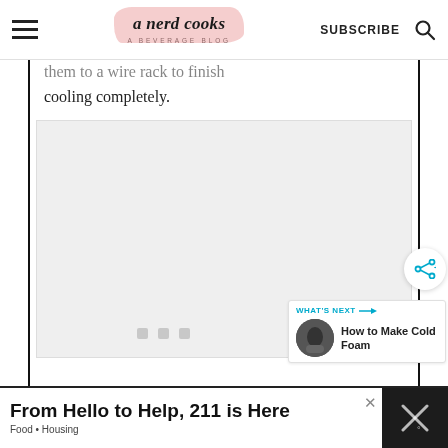a nerd cooks — A BEVERAGE BLOG | SUBSCRIBE
them to a wire rack to finish cooling completely.
[Figure (photo): Blank/loading image placeholder with grey background and three small loading dots]
WHAT'S NEXT → How to Make Cold Foam
From Hello to Help, 211 is Here — Food • Housing